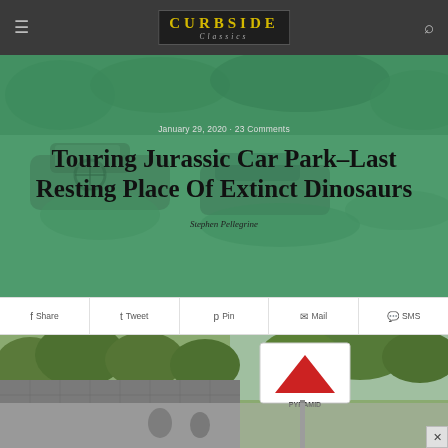CURBSIDE Classics — navigation bar with menu icon and search icon
[Figure (photo): Hero banner with green-tinted background showing old/rusty cars overgrown with vegetation. Contains date 'January 29, 2020 · 23 Comments', article title 'Touring Jurassic Car Park–Last Resting Place Of Extinct Dinosaurs', and author 'Stephen Pellegrine']
Touring Jurassic Car Park–Last Resting Place Of Extinct Dinosaurs
January 29, 2020 · 23 Comments
Stephen Pellegrine
Share  Tweet  Pin  Mail  SMS
[Figure (photo): Photograph of an old building with overgrown trees and a Pyramid brand sign (red triangle logo on white background) visible in the upper right. Below is a reflection or second image showing the building exterior and people.]